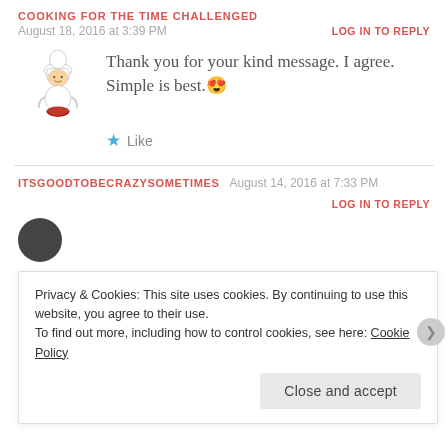COOKING FOR THE TIME CHALLENGED
August 18, 2016 at 3:39 PM
LOG IN TO REPLY
Thank you for your kind message. I agree. Simple is best. 😍
★ Like
ITSGOODTOBECRAZYSOMETIMES   August 14, 2016 at 7:33 PM
LOG IN TO REPLY
Privacy & Cookies: This site uses cookies. By continuing to use this website, you agree to their use. To find out more, including how to control cookies, see here: Cookie Policy
Close and accept